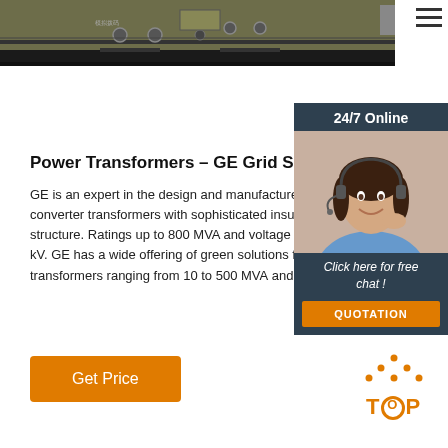[Figure (photo): Industrial electrical equipment rack/panel viewed from above, dark olive/gray coloring with connectors and labels]
Power Transformers – GE Grid Solutions
GE is an expert in the design and manufacture of HVDC converter transformers with sophisticated insulation and thermal structure. Ratings up to 800 MVA and voltage levels up to 800 kV. GE has a wide offering of green solutions for power transformers ranging from 10 to 500 MVA and up to 550 kV.
[Figure (photo): 24/7 Online chat widget showing a smiling woman with headset and a 'Click here for free chat!' prompt with QUOTATION button]
Get Price
[Figure (illustration): Orange 'TOP' scroll-to-top button with dotted triangle/caret above the text]